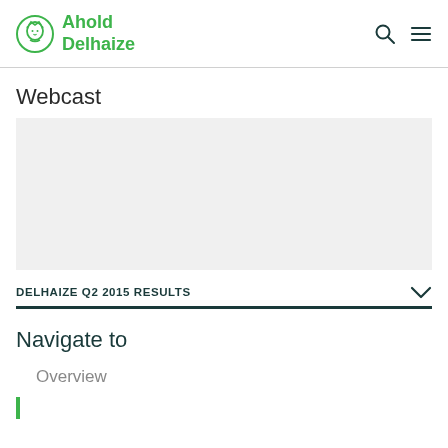Ahold Delhaize
Webcast
[Figure (screenshot): Video webcast placeholder area (blank/grey)]
DELHAIZE Q2 2015 RESULTS
Navigate to
Overview